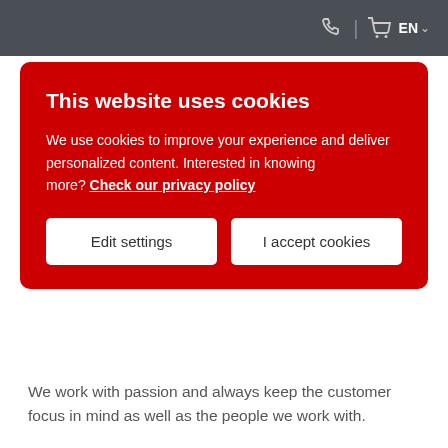EN
This website uses cookies
We use cookies to improve your experience and deliver personalized content. Interested in knowing more? Check our privacy policy
Edit settings
I accept cookies
We work with passion and always keep the customer focus in mind as well as the people we work with.
For us, lifelong learning and knowledge sharing are part of the personal development of all colleagues. A wide range of training and further education programs convey professional know-how and develop basic skills even further. Each individual takes responsibility for their own personal development. Nevertheless, we are very proud that our managers support the professional development of their employees. In this way, the personal development of